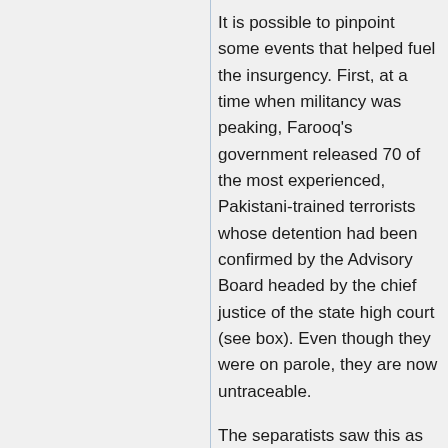It is possible to pinpoint some events that helped fuel the insurgency. First, at a time when militancy was peaking, Farooq's government released 70 of the most experienced, Pakistani-trained terrorists whose detention had been confirmed by the Advisory Board headed by the chief justice of the state high court (see box). Even though they were on parole, they are now untraceable.
The separatists saw this as an important victory. Their morale got a major boost when the V.P. Singh Government agreed to free 5 hardcore detenus in exchange for the release of the missing...